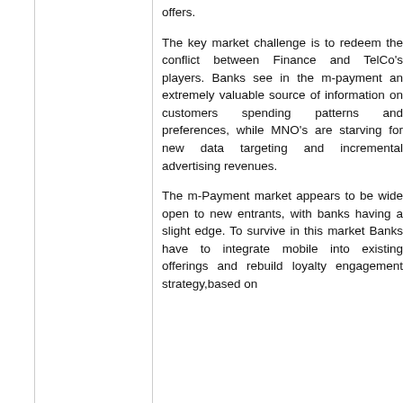offers.
The key market challenge is to redeem the conflict between Finance and TelCo's players. Banks see in the m-payment an extremely valuable source of information on customers spending patterns and preferences, while MNO's are starving for new data targeting and incremental advertising revenues.
The m-Payment market appears to be wide open to new entrants, with banks having a slight edge. To survive in this market Banks have to integrate mobile into existing offerings and rebuild loyalty engagement strategy,based on